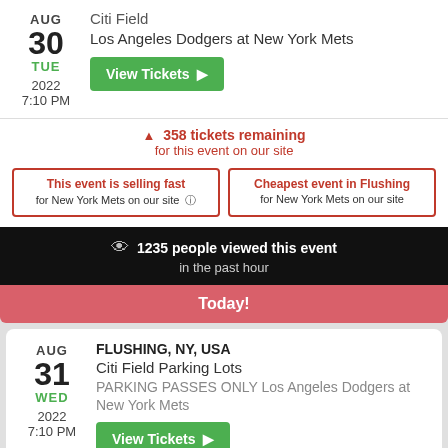AUG 30 TUE
Citi Field
Los Angeles Dodgers at New York Mets
2022
7:10 PM
View Tickets
358 tickets remaining for this event on our site
This event is selling fast for New York Mets on our site
Cheapest event in Flushing for New York Mets on our site
1235 people viewed this event in the past hour
Today!
FLUSHING, NY, USA
Citi Field Parking Lots
PARKING PASSES ONLY Los Angeles Dodgers at New York Mets
AUG 31 WED
2022
7:10 PM
View Tickets